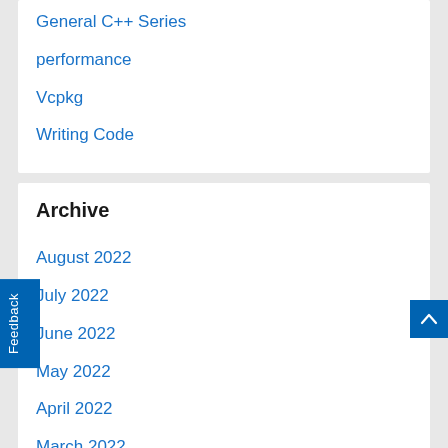General C++ Series
performance
Vcpkg
Writing Code
Archive
August 2022
July 2022
June 2022
May 2022
April 2022
March 2022
February 2022
January 2022